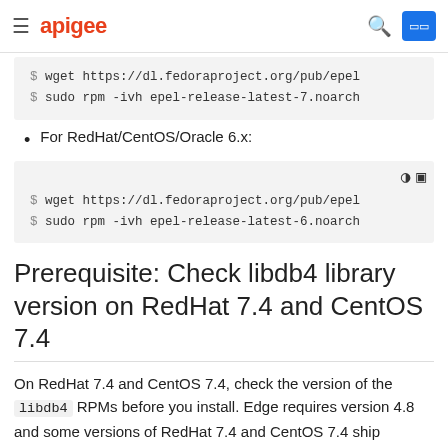≡ apigee [search] [button]
[Figure (screenshot): Code block showing wget and sudo rpm commands for version 7]
For RedHat/CentOS/Oracle 6.x:
[Figure (screenshot): Code block showing wget and sudo rpm commands for version 6 with dark mode and copy icons]
Prerequisite: Check libdb4 library version on RedHat 7.4 and CentOS 7.4
On RedHat 7.4 and CentOS 7.4, check the version of the libdb4 RPMs before you install. Edge requires version 4.8 and some versions of RedHat 7.4 and CentOS 7.4 ship